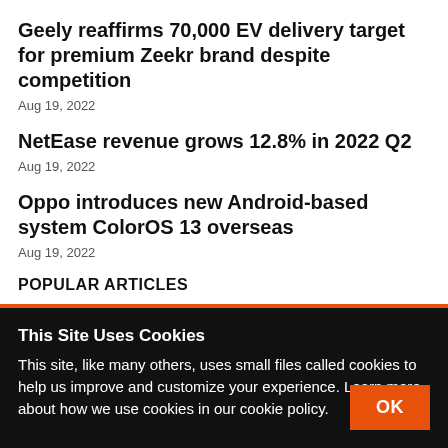Geely reaffirms 70,000 EV delivery target for premium Zeekr brand despite competition
Aug 19, 2022
NetEase revenue grows 12.8% in 2022 Q2
Aug 19, 2022
Oppo introduces new Android-based system ColorOS 13 overseas
Aug 19, 2022
POPULAR ARTICLES
This Site Uses Cookies
This site, like many others, uses small files called cookies to help us improve and customize your experience. Learn more about how we use cookies in our cookie policy.